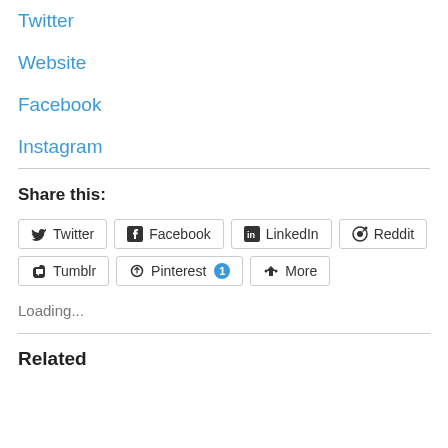Twitter
Website
Facebook
Instagram
Share this:
Twitter Facebook LinkedIn Reddit Tumblr Pinterest 1 More
Loading...
Related